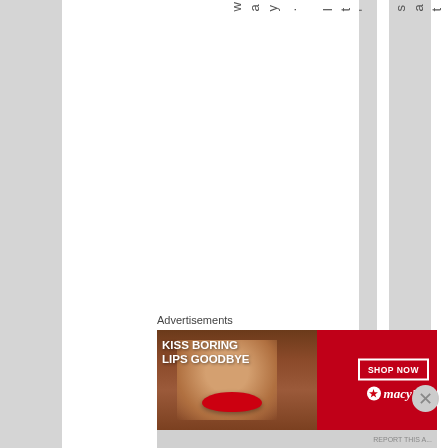[Figure (other): Web page screenshot showing vertical striped columns (alternating white and gray) with rotated vertical text reading 'way. It's satoughhab:' running down one of the gray columns]
Advertisements
[Figure (photo): Macy's advertisement banner with red background showing a woman's face with red lips and text 'KISS BORING LIPS GOODBYE' with 'SHOP NOW' button and Macy's star logo]